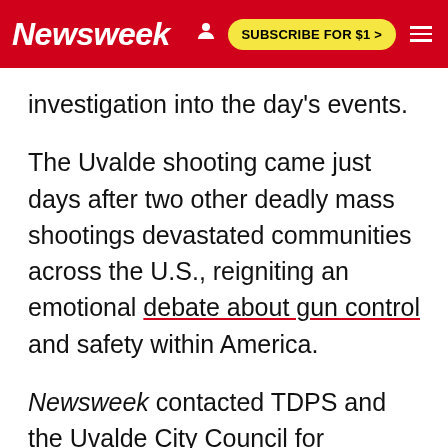Newsweek | SUBSCRIBE FOR $1 >
investigation into the day's events.
The Uvalde shooting came just days after two other deadly mass shootings devastated communities across the U.S., reigniting an emotional debate about gun control and safety within America.
Newsweek contacted TDPS and the Uvalde City Council for comment.